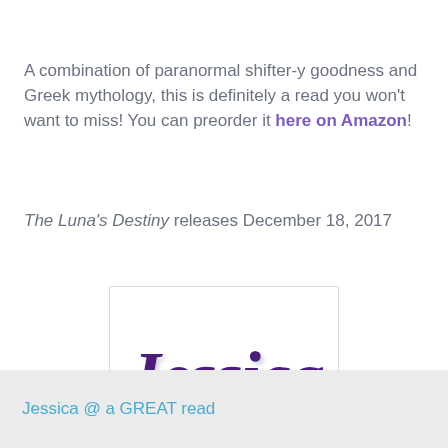A combination of paranormal shifter-y goodness and Greek mythology, this is definitely a read you won't want to miss! You can preorder it here on Amazon!
The Luna's Destiny releases December 18, 2017
[Figure (illustration): Handwritten cursive signature reading 'Jessica' in dark purple ink with a shadow effect, inside a white box with light gray border]
Jessica @ a GREAT read